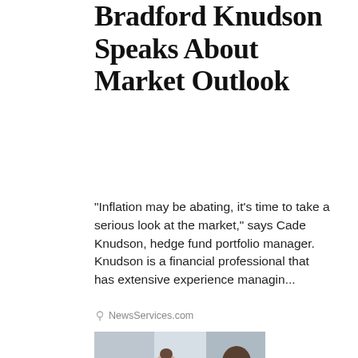Bradford Knudson Speaks About Market Outlook
"Inflation may be abating, it's time to take a serious look at the market," says Cade Knudson, hedge fund portfolio manager. Knudson is a financial professional that has extensive experience managin...
NewsServices.com
[Figure (photo): Photo of business professionals shaking hands in an office setting, with several people visible including women and a man in a grey suit.]